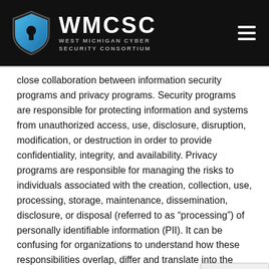WMCSC - West Michigan Cyber Security Consortium
close collaboration between information security programs and privacy programs. Security programs are responsible for protecting information and systems from unauthorized access, use, disclosure, disruption, modification, or destruction in order to provide confidentiality, integrity, and availability. Privacy programs are responsible for managing the risks to individuals associated with the creation, collection, use, processing, storage, maintenance, dissemination, disclosure, or disposal (referred to as “processing”) of personally identifiable information (PII). It can be confusing for organizations to understand how these responsibilities overlap, differ and translate into the selection of controls for the most effective mitigation of security and privacy risks.